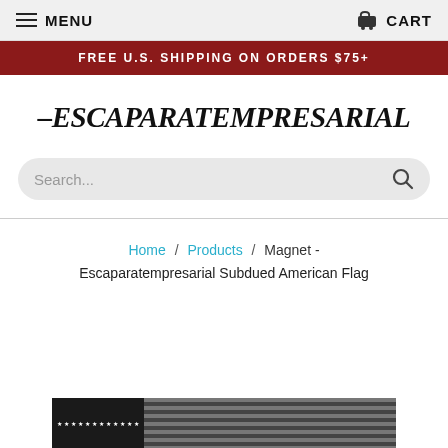MENU   CART
FREE U.S. SHIPPING ON ORDERS $75+
ESCAPARATEMPRESARIAL
Search...
Home / Products / Magnet - Escaparatempresarial Subdued American Flag
[Figure (photo): Subdued grayscale American flag magnet product image partial view]